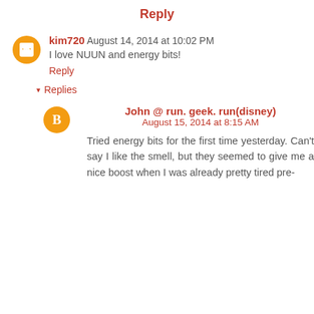Reply
kim720 August 14, 2014 at 10:02 PM
I love NUUN and energy bits!
Reply
▾ Replies
John @ run. geek. run(disney) August 15, 2014 at 8:15 AM
Tried energy bits for the first time yesterday. Can't say I like the smell, but they seemed to give me a nice boost when I was already pretty tired pre-